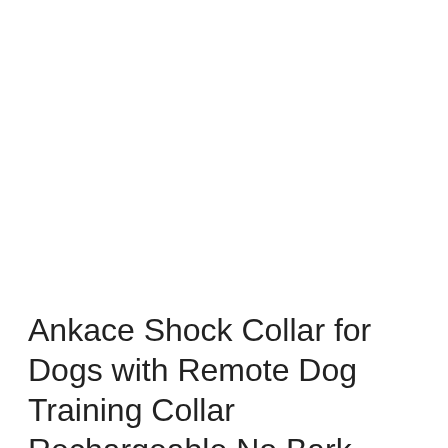Ankace Shock Collar for Dogs with Remote Dog Training Collar Rechargeable No Bark Collar with